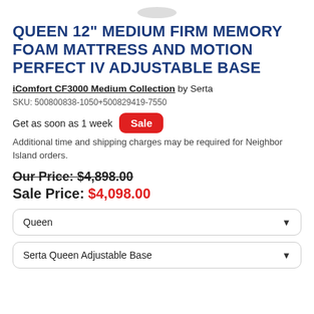QUEEN 12" MEDIUM FIRM MEMORY FOAM MATTRESS AND MOTION PERFECT IV ADJUSTABLE BASE
iComfort CF3000 Medium Collection by Serta
SKU: 500800838-1050+500829419-7550
Get as soon as 1 week  Sale
Additional time and shipping charges may be required for Neighbor Island orders.
Our Price: $4,898.00
Sale Price: $4,098.00
Queen (dropdown)
Serta Queen Adjustable Base (dropdown)